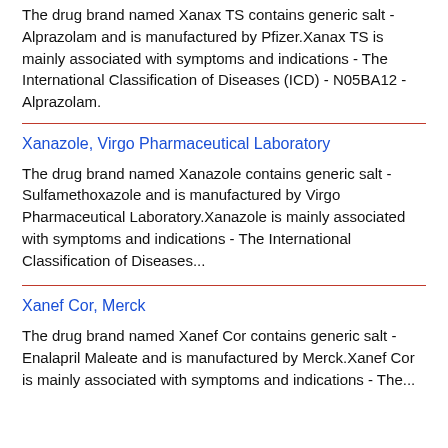The drug brand named Xanax TS contains generic salt - Alprazolam and is manufactured by Pfizer.Xanax TS is mainly associated with symptoms and indications - The International Classification of Diseases (ICD) - N05BA12 - Alprazolam.
Xanazole, Virgo Pharmaceutical Laboratory
The drug brand named Xanazole contains generic salt - Sulfamethoxazole and is manufactured by Virgo Pharmaceutical Laboratory.Xanazole is mainly associated with symptoms and indications - The International Classification of Diseases...
Xanef Cor, Merck
The drug brand named Xanef Cor contains generic salt - Enalapril Maleate and is manufactured by Merck.Xanef Cor is mainly associated with symptoms and indications - The...